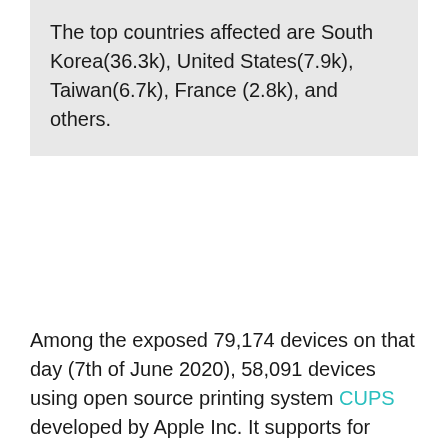The top countries affected are South Korea(36.3k), United States(7.9k), Taiwan(6.7k), France (2.8k), and others.
Among the exposed 79,174 devices on that day (7th of June 2020), 58,091 devices using open source printing system CUPS developed by Apple Inc. It supports for macOS and other UNIX-like operating systems.